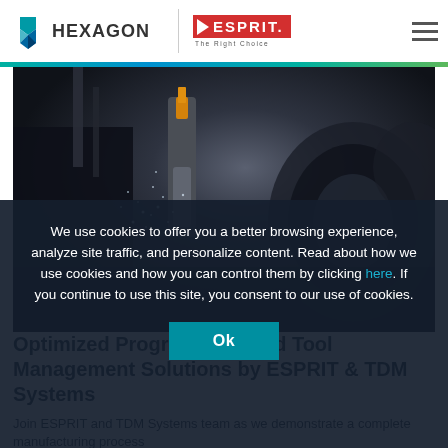[Figure (logo): Hexagon logo with teal/blue geometric icon and HEXAGON text, separated by vertical line from ESPRIT logo (red box with play arrow and ESPRIT text, tagline 'The Right Choice'), hamburger menu icon on right]
[Figure (photo): CNC machining center close-up with metal shavings and coolant spray, dark background]
We use cookies to offer you a better browsing experience, analyze site traffic, and personalize content. Read about how we use cookies and how you can control them by clicking here. If you continue to use this site, you consent to our use of cookies.
Optimized Programming and Tool Management Solutions by ESPRIT & TDM Systems
Join ESPRIT and TDM Systems team as we demonstrate a complete manufacturing process